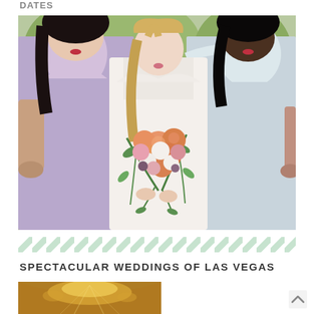DATES
[Figure (photo): A bride in white lace dress holding a large bouquet of peach, pink, and white roses with greenery, flanked by two bridesmaids — one in lavender and one in pale blue — standing outdoors among trees.]
[Figure (illustration): Diagonal green diagonal stripe pattern divider]
SPECTACULAR WEDDINGS OF LAS VEGAS
[Figure (photo): Partial photo showing ornate golden chandelier or ceiling decoration with warm amber lighting.]